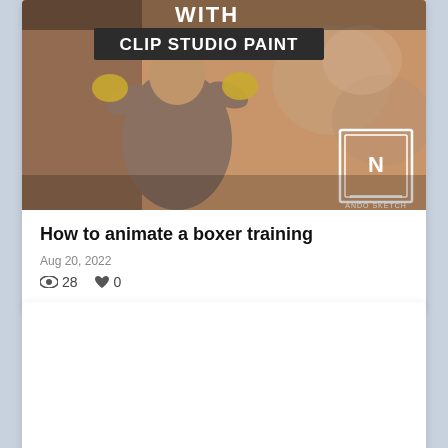[Figure (illustration): Thumbnail image showing an animated boxer character with text 'WITH CLIP STUDIO PAINT' and a logo 'ANDO SKETCH' in the corner]
How to animate a boxer training
Aug 20, 2022
28  0